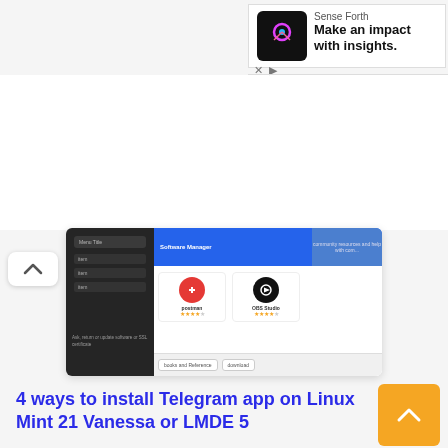[Figure (screenshot): Advertisement banner for Sense Forth with logo and text 'Make an impact with insights.']
[Figure (screenshot): Screenshot of Linux Mint software manager showing app icons including a red/orange app and OBS Studio with star ratings]
4 ways to install Telegram app on Linux Mint 21 Vanessa or LMDE 5
[Figure (screenshot): Screenshot of Telegram Desktop installation on Linux Mint showing the Telegram Desktop page with START MESSAGING button and paper plane logo]